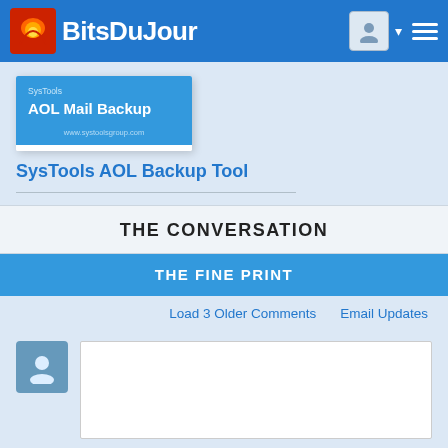BitsDuJour
[Figure (screenshot): AOL Mail Backup product card with blue background showing SysTools branding]
SysTools AOL Backup Tool
THE CONVERSATION
THE FINE PRINT
Load 3 Older Comments    Email Updates
[Figure (other): User avatar placeholder icon (blue square with person silhouette) and empty comment text input box]